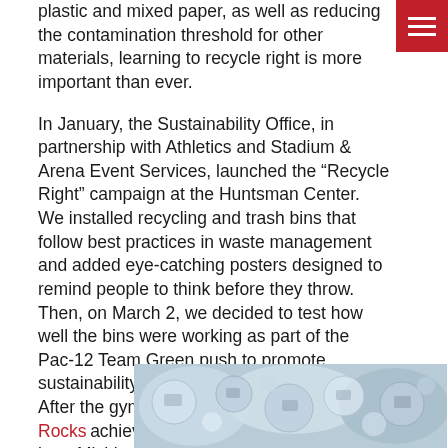nav button (hamburger menu)
plastic and mixed paper, as well as reducing the contamination threshold for other materials, learning to recycle right is more important than ever.

In January, the Sustainability Office, in partnership with Athletics and Stadium & Arena Event Services, launched the “Recycle Right” campaign at the Huntsman Center. We installed recycling and trash bins that follow best practices in waste management and added eye-catching posters designed to remind people to think before they throw. Then, on March 2, we decided to test how well the bins were working as part of the Pac-12 Team Green push to promote sustainability in conference sports facilities. After the gymnastics meet (in which our Red Rocks achieved a season-best score and beat Michigan!), employees and students in Sustainability and Facilities opened up the bins.

We found
[Figure (photo): Photo of recycling materials/items, partially visible at the bottom of the page, showing various recyclable objects on a surface]